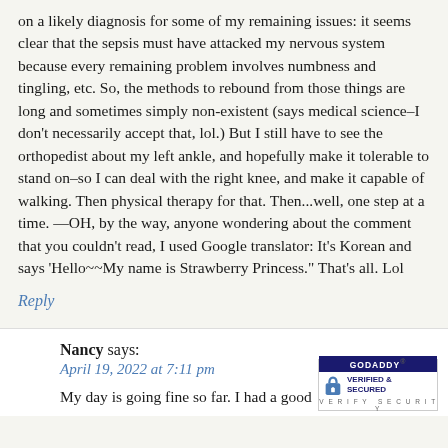on a likely diagnosis for some of my remaining issues: it seems clear that the sepsis must have attacked my nervous system because every remaining problem involves numbness and tingling, etc. So, the methods to rebound from those things are long and sometimes simply non-existent (says medical science–I don't necessarily accept that, lol.) But I still have to see the orthopedist about my left ankle, and hopefully make it tolerable to stand on–so I can deal with the right knee, and make it capable of walking. Then physical therapy for that. Then...well, one step at a time. —OH, by the way, anyone wondering about the comment that you couldn't read, I used Google translator: It's Korean and says 'Hello~~My name is Strawberry Princess." That's all. Lol
Reply
Nancy says:
April 19, 2022 at 7:11 pm
My day is going fine so far. I had a good